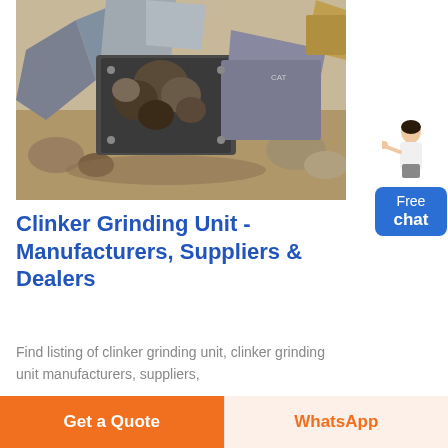[Figure (photo): Industrial clinker grinding unit / crusher machine with rocks being processed, photographed outdoors at a construction/mining site]
[Figure (illustration): Chat widget showing a female customer service figure pointing to a blue 'Free chat' button]
Clinker Grinding Unit - Manufacturers, Suppliers & Dealers
Find listing of clinker grinding unit, clinker grinding unit manufacturers, suppliers, dealers & exporters from
Get a Quote
WhatsApp